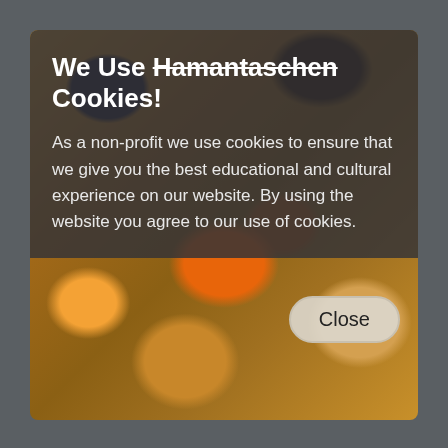[Figure (screenshot): Cookie popup modal overlay on a website. Shows a photo of hamantaschen cookies (triangular pastries with fruit filling) as background. Top portion has a dark semi-transparent overlay with white text.]
We Use Hamantaschen Cookies!
As a non-profit we use cookies to ensure that we give you the best educational and cultural experience on our website. By using the website you agree to our use of cookies.
Close
Go to event website
Holidays